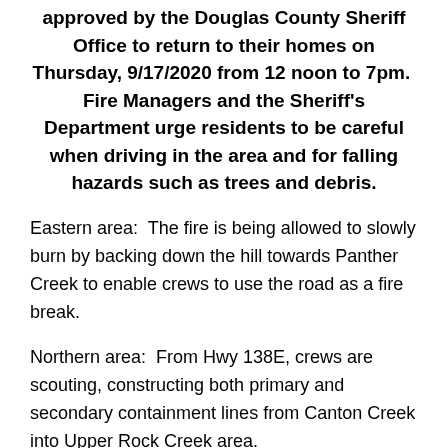approved by the Douglas County Sheriff Office to return to their homes on Thursday, 9/17/2020 from 12 noon to 7pm. Fire Managers and the Sheriff's Department urge residents to be careful when driving in the area and for falling hazards such as trees and debris.
Eastern area: The fire is being allowed to slowly burn by backing down the hill towards Panther Creek to enable crews to use the road as a fire break.
Northern area: From Hwy 138E, crews are scouting, constructing both primary and secondary containment lines from Canton Creek into Upper Rock Creek area.
Southern area: Containment lines from South Calapooya Creek down to Glide are holding